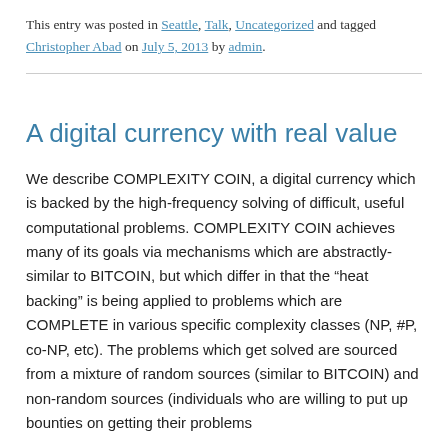This entry was posted in Seattle, Talk, Uncategorized and tagged Christopher Abad on July 5, 2013 by admin.
A digital currency with real value
We describe COMPLEXITY COIN, a digital currency which is backed by the high-frequency solving of difficult, useful computational problems. COMPLEXITY COIN achieves many of its goals via mechanisms which are abstractly-similar to BITCOIN, but which differ in that the “heat backing” is being applied to problems which are COMPLETE in various specific complexity classes (NP, #P, co-NP, etc). The problems which get solved are sourced from a mixture of random sources (similar to BITCOIN) and non-random sources (individuals who are willing to put up bounties on getting their problems solved by our framework — this is sometimes called